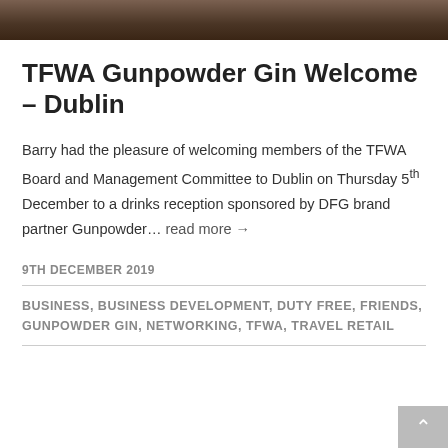[Figure (photo): Partial photo strip showing a dimly lit indoor event scene, dark brown tones]
TFWA Gunpowder Gin Welcome – Dublin
Barry had the pleasure of welcoming members of the TFWA Board and Management Committee to Dublin on Thursday 5th December to a drinks reception sponsored by DFG brand partner Gunpowder… read more →
9TH DECEMBER 2019
BUSINESS, BUSINESS DEVELOPMENT, DUTY FREE, FRIENDS, GUNPOWDER GIN, NETWORKING, TFWA, TRAVEL RETAIL